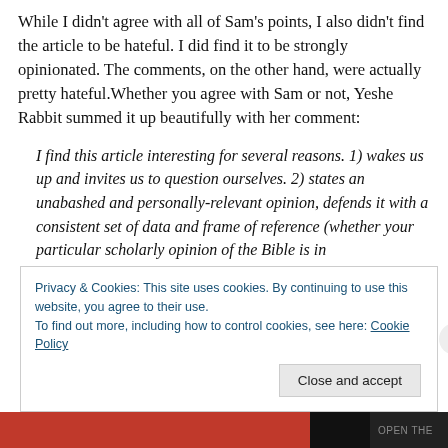While I didn't agree with all of Sam's points, I also didn't find the article to be hateful. I did find it to be strongly opinionated. The comments, on the other hand, were actually pretty hateful.Whether you agree with Sam or not, Yeshe Rabbit summed it up beautifully with her comment:
I find this article interesting for several reasons. 1) wakes us up and invites us to question ourselves. 2) states an unabashed and personally-relevant opinion, defends it with a consistent set of data and frame of reference (whether your particular scholarly opinion of the Bible is in
Privacy & Cookies: This site uses cookies. By continuing to use this website, you agree to their use.
To find out more, including how to control cookies, see here: Cookie Policy